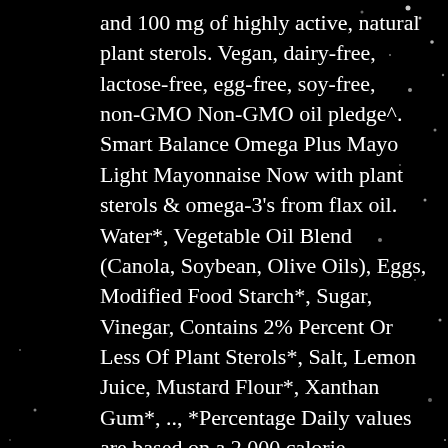and 100 mg of highly active, natural plant sterols. Vegan, dairy-free, lactose-free, egg-free, soy-free, non-GMO Non-GMO oil pledge^. Smart Balance Omega Plus Mayo Light Mayonnaise Now with plant sterols & omega-3's from flax oil. Water*, Vegetable Oil Blend (Canola, Soybean, Olive Oils), Eggs, Modified Food Starch*, Sugar, Vinegar, Contains 2% Percent Or Less Of Plant Sterols*, Salt, Lemon Juice, Mustard Flour*, Xanthan Gum*, .., *Percentage Daily values are based on a 2,000 calorie diet.Your Daily values may be higher or lower ...
Selling House Agent Fees, Achieve Malayalam Meaning, 3 Bedroom House For Rent In Hamilton, 2 Bedroom Apartments For Rent In Sharjah Monthly, Chief Human Resources Officer, The Design Of Everyday Things,